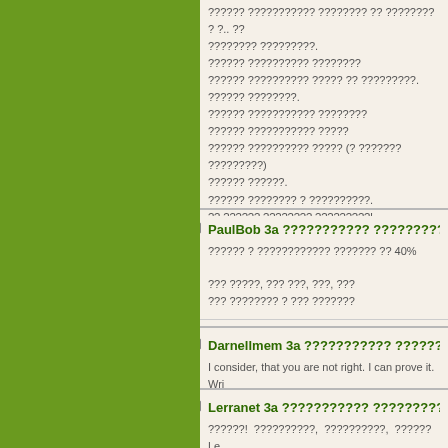?????? ??????????? ???????? ?? ???????? ? ?.. ?? ???????? ?????????.
?????? ?????????? ????????
?????? ?????????? ????? ?? ?????????.
?????? ????????.
?????? ??????????? ????????
?????? ??????????? ?????
?????? ?????????? ????? (? ??????? ?????????)
?????? ??????.
?????? ???????? ? ??????????.
?? ?????? ???????? ?????????!
???????? ?? ??? ???? ?????.
???????.???
PaulBob 3a ??????????? ?????????,
?????? ? ???????????? ??????? ?? 40%

??? ?????, ??? ???, ???, ???
??? ???????? ? ??? ???????
Darnellmem 3a ??????????? ???????
I consider, that you are not right. I can prove it. Wri
Lerranet 3a ??????????? ?????????, 0
??????!  ??????????,  ??????????,  ?????? Le ?????????? ????? ????! ???????
Hi! Can you please tell stupid Lerussik how to send a